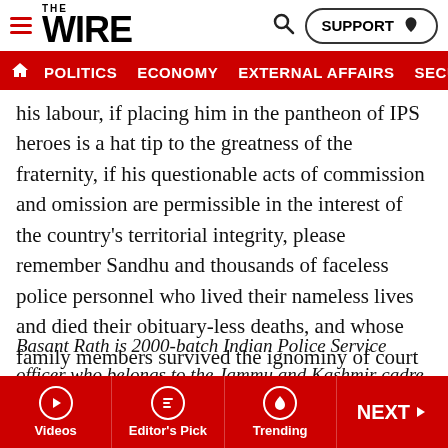THE WIRE — POLITICS | ECONOMY | EXTERNAL AFFAIRS | SECU…
his labour, if placing him in the pantheon of IPS heroes is a hat tip to the greatness of the fraternity, if his questionable acts of commission and omission are permissible in the interest of the country's territorial integrity, please remember Sandhu and thousands of faceless police personnel who lived their nameless lives and died their obituary-less deaths, and whose family members survived the ignominy of court cases for no fault of their own – other than of having blindly followed improper orders.
Basant Rath is 2000-batch Indian Police Service officer who belongs to the Jammu and Kashmir cadre. Views expressed are personal.
Videos | Editor's Pick | Trending | NEXT >